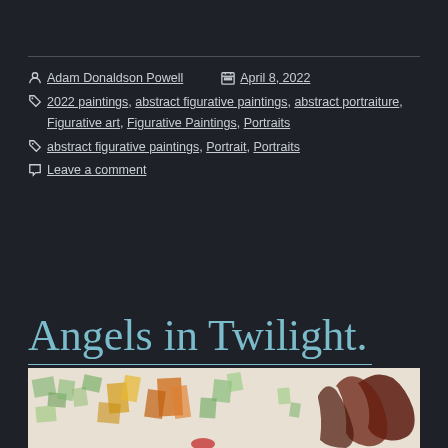Adam Donaldson Powell   April 8, 2022
2022 paintings, abstract figurative paintings, abstract portraiture, Figurative art, Figurative Paintings, Portraits
abstract figurative paintings, Portrait, Portraits
Leave a comment
Angels in Twilight.
[Figure (photo): Partial view of a watercolor painting with abstract shapes in green, yellow, orange and dark red/brown tones on a light background]